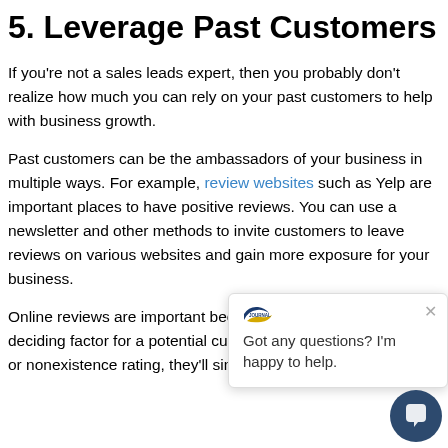5. Leverage Past Customers
If you're not a sales leads expert, then you probably don't realize how much you can rely on your past customers to help with business growth.
Past customers can be the ambassadors of your business in multiple ways. For example, review websites such as Yelp are important places to have positive reviews. You can use a newsletter and other methods to invite customers to leave reviews on various websites and gain more exposure for your business.
Online reviews are important because they're often the deciding factor for a potential customer and if you have a low or nonexistence rating, they'll simply go with your competitors.
[Figure (screenshot): Chat popup widget showing a logo, a close button (×), and the message 'Got any questions? I'm happy to help.' with a dark blue circular chat button in the bottom right corner.]